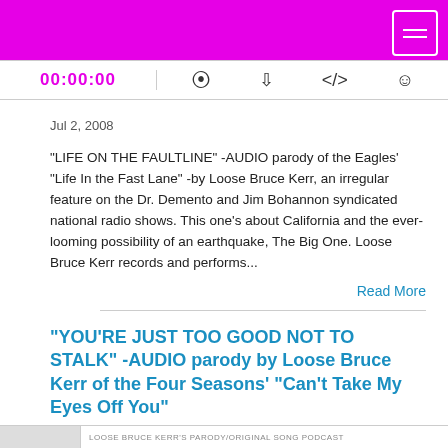00:00:00
Jul 2, 2008
"LIFE ON THE FAULTLINE" -AUDIO parody of the Eagles' "Life In the Fast Lane" -by Loose Bruce Kerr, an irregular feature on the Dr. Demento and Jim Bohannon syndicated national radio shows. This one's about California and the ever-looming possibility of an earthquake, The Big One. Loose Bruce Kerr records and performs...
Read More
"YOU'RE JUST TOO GOOD NOT TO STALK" -AUDIO parody by Loose Bruce Kerr of the Four Seasons' "Can't Take My Eyes Off You"
LOOSE BRUCE KERR'S PARODY/ORIGINAL SONG PODCAST